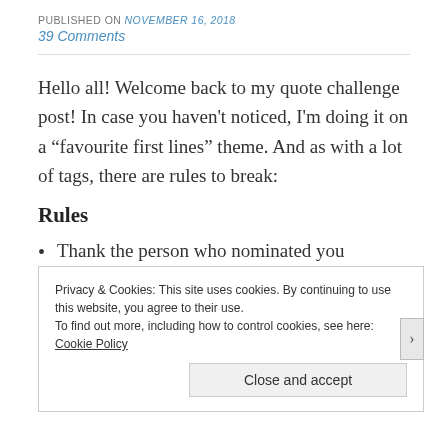PUBLISHED ON November 16, 2018
39 Comments
Hello all! Welcome back to my quote challenge post! In case you haven't noticed, I'm doing it on a “favourite first lines” theme. And as with a lot of tags, there are rules to break:
Rules
Thank the person who nominated you
Privacy & Cookies: This site uses cookies. By continuing to use this website, you agree to their use.
To find out more, including how to control cookies, see here:
Cookie Policy
Close and accept